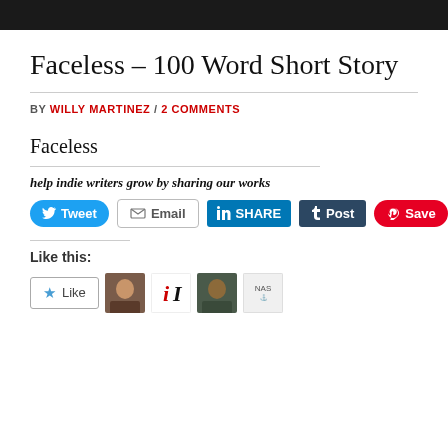Faceless – 100 Word Short Story
BY WILLY MARTINEZ / 2 COMMENTS
Faceless
help indie writers grow by sharing our works
Tweet | Email | SHARE | Post | Save
Like this:
Like